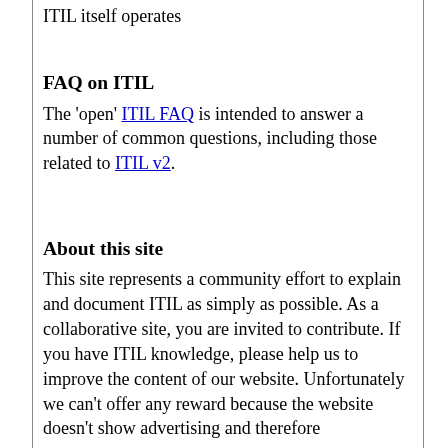ITIL itself operates
FAQ on ITIL
The 'open' ITIL FAQ is intended to answer a number of common questions, including those related to ITIL v2.
About this site
This site represents a community effort to explain and document ITIL as simply as possible. As a collaborative site, you are invited to contribute. If you have ITIL knowledge, please help us to improve the content of our website. Unfortunately we can't offer any reward because the website doesn't show advertising and therefore